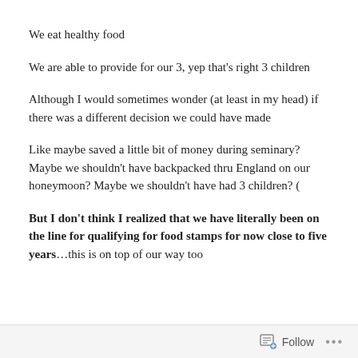We eat healthy food
We are able to provide for our 3, yep that’s right 3 children
Although I would sometimes wonder (at least in my head) if there was a different decision we could have made
Like maybe saved a little bit of money during seminary? Maybe we shouldn’t have backpacked thru England on our honeymoon? Maybe we shouldn’t have had 3 children? (
But I don’t think I realized that we have literally been on the line for qualifying for food stamps for now close to five years…this is on top of our way too
Follow …